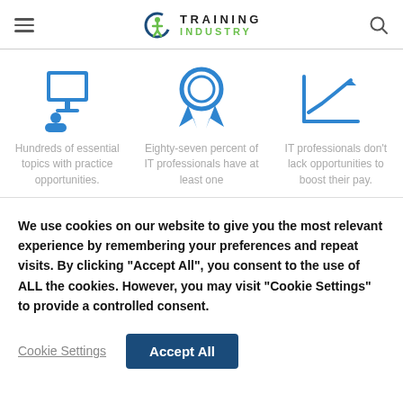Training Industry
[Figure (illustration): Three blue icons: a presenter at a screen, a certification badge/ribbon, and a bar chart with upward arrow.]
Hundreds of essential topics with practice opportunities.
Eighty-seven percent of IT professionals have at least one
IT professionals don't lack opportunities to boost their pay.
We use cookies on our website to give you the most relevant experience by remembering your preferences and repeat visits. By clicking "Accept All", you consent to the use of ALL the cookies. However, you may visit "Cookie Settings" to provide a controlled consent.
Cookie Settings
Accept All